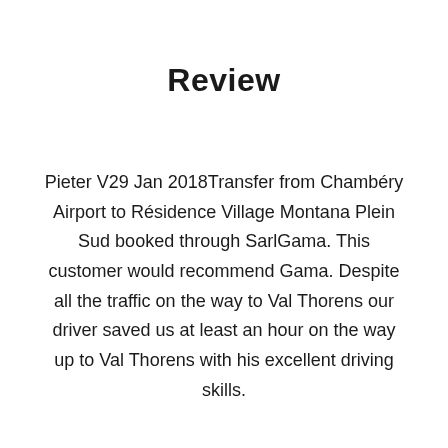Review
Pieter V29 Jan 2018Transfer from Chambéry Airport to Résidence Village Montana Plein Sud booked through SarlGama. This customer would recommend Gama. Despite all the traffic on the way to Val Thorens our driver saved us at least an hour on the way up to Val Thorens with his excellent driving skills.